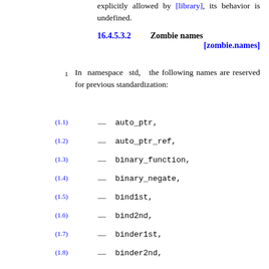explicitly allowed by [library], its behavior is undefined.
16.4.5.3.2   Zombie names [zombie.names]
1 In namespace std, the following names are reserved for previous standardization:
(1.1) — auto_ptr,
(1.2) — auto_ptr_ref,
(1.3) — binary_function,
(1.4) — binary_negate,
(1.5) — bind1st,
(1.6) — bind2nd,
(1.7) — binder1st,
(1.8) — binder2nd,
(1.9) — const_mem_fun1_ref_t,
(1.10) — const_mem_fun1_t,
(1.11) — const_mem_fun_ref_t,
(1.12) — const_mem_fun_t,
(1.13) — get_temporary_buffer,